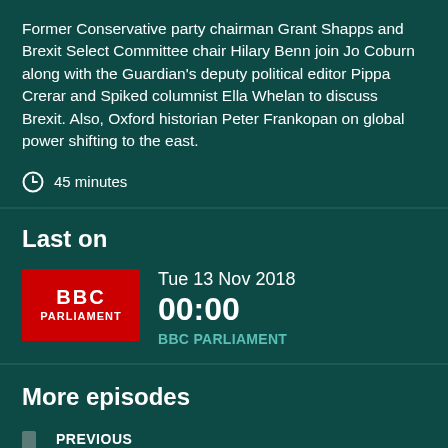Former Conservative party chairman Grant Shapps and Brexit Select Committee chair Hilary Benn join Jo Coburn along with the Guardian's deputy political editor Pippa Crerar and Spiked columnist Ella Whelan to discuss Brexit. Also, Oxford historian Peter Frankopan on global power shifting to the east.
45 minutes
Last on
Tue 13 Nov 2018
00:00
BBC PARLIAMENT
More episodes
PREVIOUS
06/11/2018
NEXT